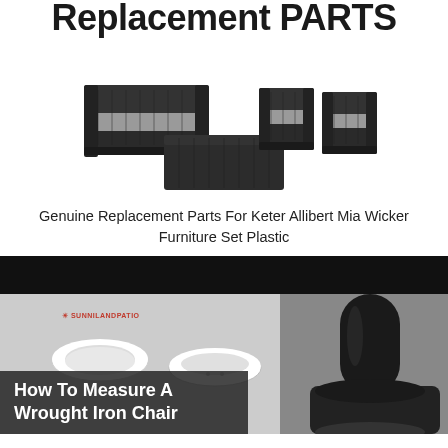Replacement PARTS
[Figure (photo): Dark wicker/rattan outdoor furniture set with grey cushions: a loveseat sofa, a coffee table, and two armchairs]
Genuine Replacement Parts For Keter Allibert Mia Wicker Furniture Set Plastic
[Figure (photo): Composite image showing white plastic furniture leg caps/glides on the left half and a close-up of a dark wrought iron chair leg on the right half. SUNNILANDPATIO logo visible. Overlay text reads: How To Measure A Wrought Iron Chair]